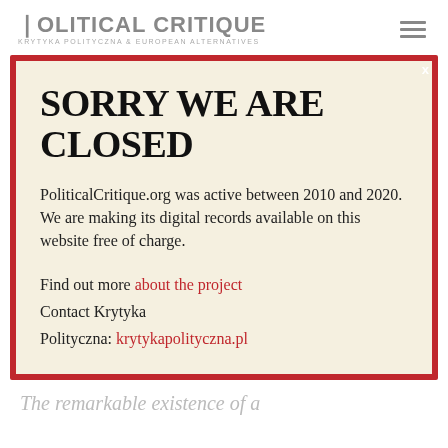POLITICAL CRITIQUE
KRYTYKA POLITYCZNA & EUROPEAN ALTERNATIVES
SORRY WE ARE CLOSED
PoliticalCritique.org was active between 2010 and 2020.  We are making its digital records available on this website free of charge.
Find out more about the project
Contact Krytyka Polityczna: krytykapolityczna.pl
The remarkable existence of a